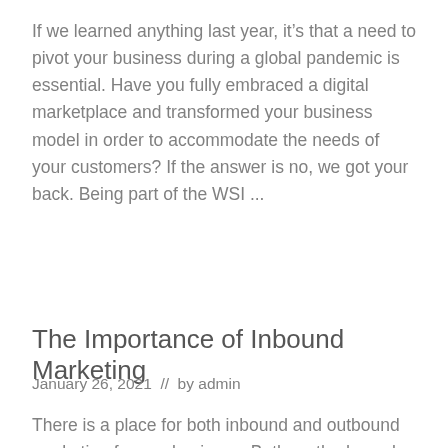If we learned anything last year, it's that a need to pivot your business during a global pandemic is essential. Have you fully embraced a digital marketplace and transformed your business model in order to accommodate the needs of your customers? If the answer is no, we got your back. Being part of the WSI ...
Read More
The Importance of Inbound Marketing
January 26, 2021  //  by admin
There is a place for both inbound and outbound marketing for any business. Both methods work, but